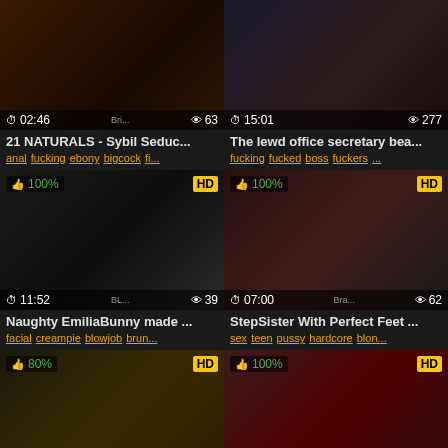[Figure (screenshot): Video thumbnail grid - adult video website with 6 video cards in 2-column layout]
21 NATURALS - Sybil Seduc...
anal fucking ebony bigcock fi...
The lewd office secretary bea...
fucking fucked boss fuckers ...
Naughty EmiliaBunny made ...
facial creampie blowjob brun...
StepSister With Perfect Feet ...
sex teen pussy hardcore blon...
Alternative Chick Licks her fe...
cum teen slut swallowing foot...
REVERSE COWGIRL RI...
dildo lesbian squirting squ...